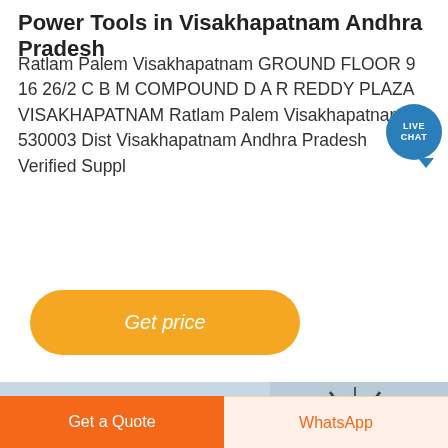Power Tools in Visakhapatnam Andhra Pradesh
Ratlam Palem Visakhapatnam GROUND FLOOR 9 16 26/2 C B M COMPOUND D A R REDDY PLAZA VISAKHAPATNAM Ratlam Palem Visakhapatnam 530003 Dist Visakhapatnam Andhra Pradesh Verified Suppl
[Figure (other): Live Chat badge - circular teal/blue speech bubble icon with LIVE CHAT text]
[Figure (other): Orange rounded button labeled Get price]
[Figure (photo): Two side-by-side photos of coastal/harbor scenes with mountains and industrial scaffolding structures]
[Figure (other): Dark circular scroll-up button with upward chevron arrow]
Get a Quote
WhatsApp